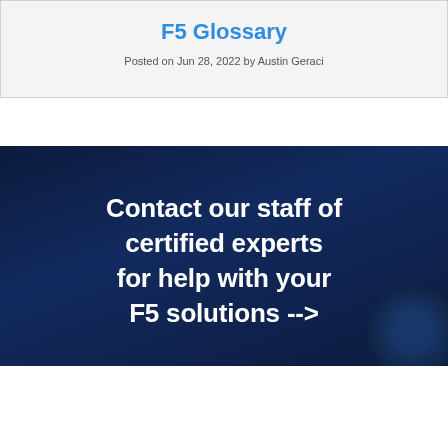F5 Glossary
Posted on Jun 28, 2022 by Austin Geraci
[Figure (infographic): Dark navy banner with bold white text reading: Contact our staff of certified experts for help with your F5 solutions --> with a circular logo/emblem in the bottom right corner]